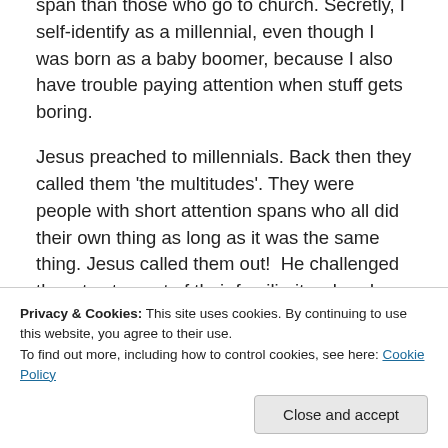span than those who go to church. Secretly, I self-identify as a millennial, even though I was born as a baby boomer, because I also have trouble paying attention when stuff gets boring.
Jesus preached to millennials. Back then they called them 'the multitudes'. They were people with short attention spans who all did their own thing as long as it was the same thing. Jesus called them out!  He challenged them to step out of their familiarity, abandon their cultural stereotype, and follow Him. You might be a 'Me generation' baby boomer, or a 'Generation Me' millennial
Privacy & Cookies: This site uses cookies. By continuing to use this website, you agree to their use.
To find out more, including how to control cookies, see here: Cookie Policy
Close and accept